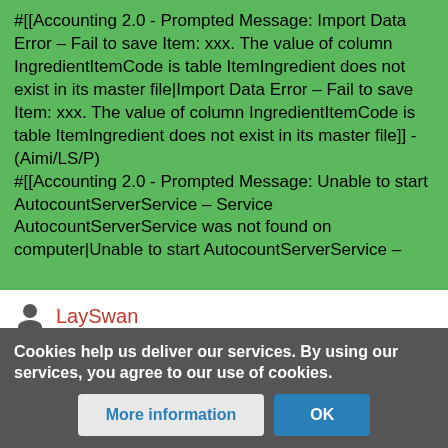#[[Accounting 2.0 - Prompted Message: Import Data Error – Fail to save Item: xxx. The value of column IngredientItemCode is table ItemIngredient does not exist in its master file|Import Data Error – Fail to save Item: xxx. The value of column IngredientItemCode is table ItemIngredient does not exist in its master file]] - (Aimi/LS/P)
#[[Accounting 2.0 - Prompted Message: Unable to start AutocountServerService – Service AutocountServerService was not found on computer|Unable to start AutocountServerService –
LaySwan
AUTHORS. ADMINISTRATORS
Cookies help us deliver our services. By using our services, you agree to our use of cookies.
More information
OK